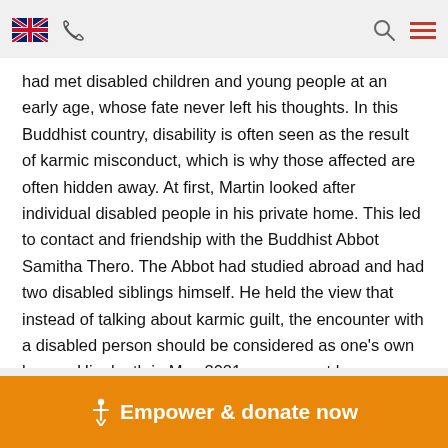[UK flag] [phone icon] [search icon] [hamburger menu]
had met disabled children and young people at an early age, whose fate never left his thoughts. In this Buddhist country, disability is often seen as the result of karmic misconduct, which is why those affected are often hidden away. At first, Martin looked after individual disabled people in his private home. This led to contact and friendship with the Buddhist Abbot Samitha Thero. The Abbot had studied abroad and had two disabled siblings himself. He held the view that instead of talking about karmic guilt, the encounter with a disabled person should be considered as one's own karma. His death in May 2021 was a great loss.
✝ Empower & donate now